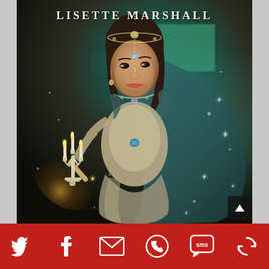[Figure (illustration): Book cover for Lisette Marshall. A young woman in a fantasy medieval setting wearing a jeweled headpiece, a grey and teal hooded cape, and an ornate silver embroidered gown. She holds a white candelabra with lit candles in her left hand. The background is a dark teal/green stone castle wall with magical sparkles and light effects. Author name 'LISETTE MARSHALL' appears at the top in white serif letters.]
[Figure (infographic): Red toolbar at the bottom with six social sharing icons: Twitter (bird), Facebook (f), Email (envelope), WhatsApp (phone handset), SMS (speech bubble with 'sms'), and a refresh/share circular arrow icon. All icons are white on the red background.]